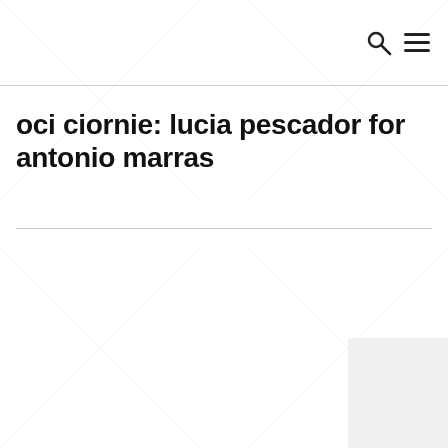oci ciornie: lucia pescador for antonio marras